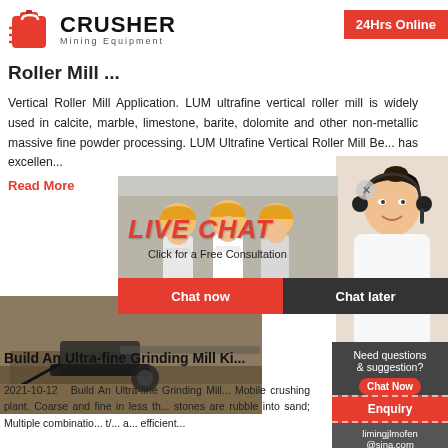[Figure (logo): Crusher Mining Equipment logo with red shopping bag icon and bold text]
Roller Mill ...
Vertical Roller Mill Application. LUM ultrafine vertical roller mill is widely used in calcite, marble, limestone, barite, dolomite and other non-metallic massive fine powder processing. LUM Ultrafine Vertical Roller Mill Be... has excellen...
Read More
[Figure (photo): Construction/mining site with heavy machinery]
[Figure (photo): Live Chat overlay with workers in hard hats and support agents]
Build An Ultra-fine Grinding Mill Ki...
2021-10-12   Build An Ultra-fine Grinding Mill... Mobile crushing plant. Coarse and fine in less th... stones are rubble into sand; Multiple combinatio... t/... a... e...efficient...